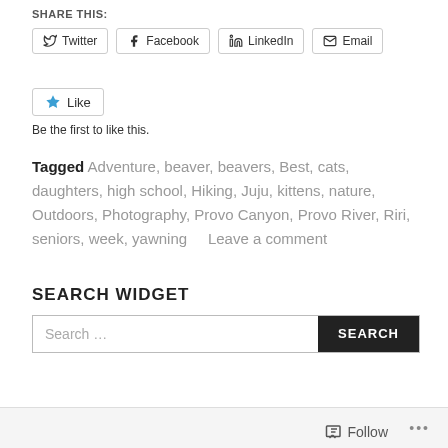SHARE THIS:
Twitter | Facebook | LinkedIn | Email
Like
Be the first to like this.
Tagged Adventure, beaver, beavers, Best, cats, daughters, high school, Hiking, Juju, kittens, nature, Outdoors, Photography, Provo Canyon, Provo River, Riri, seniors, week, yawning  Leave a comment
SEARCH WIDGET
Search ...
Follow ...